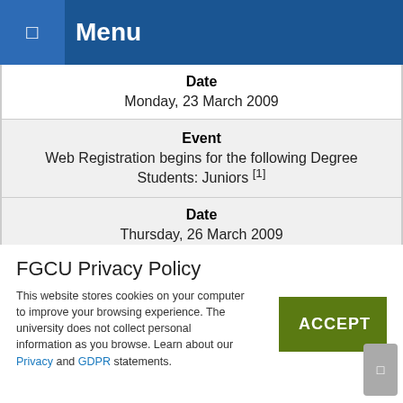Menu
| Date | Monday, 23 March 2009 |
| Event | Web Registration begins for the following Degree Students: Juniors [1] |
| Date | Thursday, 26 March 2009 |
FGCU Privacy Policy
This website stores cookies on your computer to improve your browsing experience. The university does not collect personal information as you browse. Learn about our Privacy and GDPR statements.